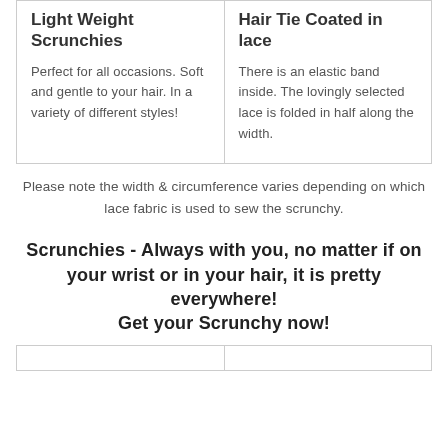| Light Weight Scrunchies | Hair Tie Coated in lace |
| --- | --- |
| Perfect for all occasions. Soft and gentle to your hair. In a variety of different styles! | There is an elastic band inside. The lovingly selected lace is folded in half along the width. |
Please note the width & circumference varies depending on which lace fabric is used to sew the scrunchy.
Scrunchies - Always with you, no matter if on your wrist or in your hair, it is pretty everywhere!
Get your Scrunchy now!
|  |  |